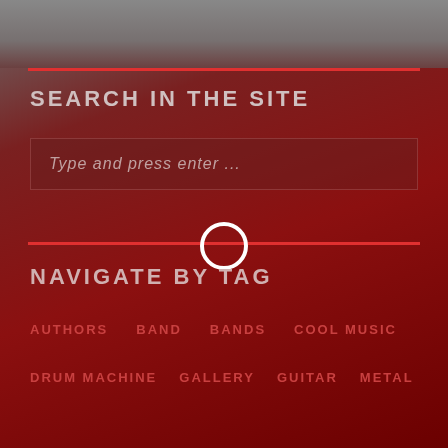SEARCH IN THE SITE
Type and press enter ...
NAVIGATE BY TAG
AUTHORS
BAND
BANDS
COOL MUSIC
DRUM MACHINE
GALLERY
GUITAR
METAL